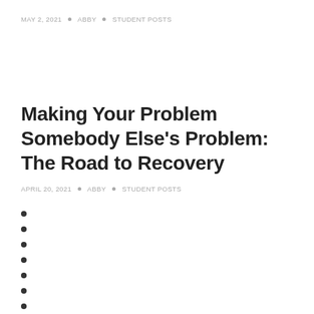MAY 2, 2021 • ABBY • STUDENT POSTS
Making Your Problem Somebody Else's Problem: The Road to Recovery
APRIL 20, 2021 • ABBY • STUDENT POSTS